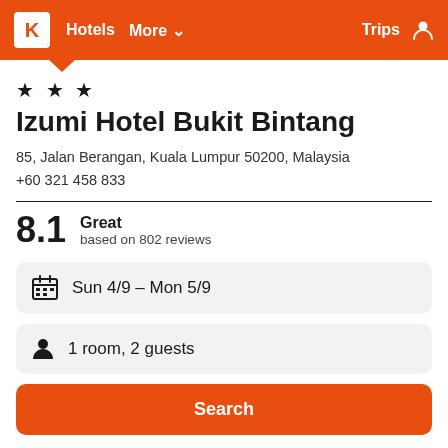K Hotels More ∨  Trips
★ ★ ★
Izumi Hotel Bukit Bintang
85, Jalan Berangan, Kuala Lumpur 50200, Malaysia
+60 321 458 833
8.1  Great  based on 802 reviews
Sun 4/9 – Mon 5/9
1 room, 2 guests
Search